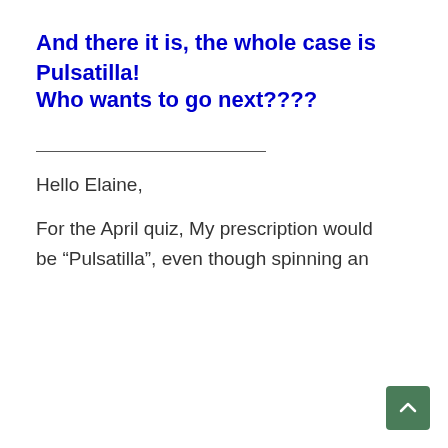And there it is, the whole case is Pulsatilla!
Who wants to go next????
Hello Elaine,
For the April quiz, My prescription would be “Pulsatilla”, even though spinning an